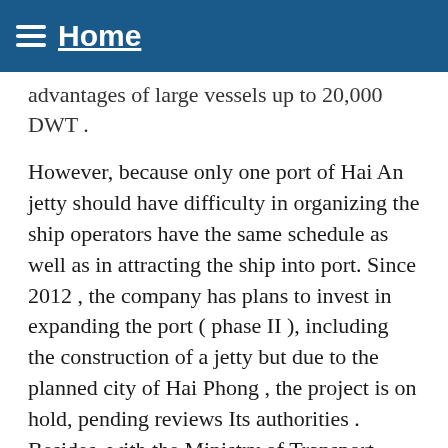Home
advantages of large vessels up to 20,000 DWT .
However, because only one port of Hai An jetty should have difficulty in organizing the ship operators have the same schedule as well as in attracting the ship into port. Since 2012 , the company has plans to invest in expanding the port ( phase II ), including the construction of a jetty but due to the planned city of Hai Phong , the project is on hold, pending reviews Its authorities . Besides, with the Ministry of Transport adjustment detailed planning Lach Huyen port area into an international gateway ports in Hai Phong ( scheduled for completion in 2016 and has the capacity to receive large container ships up to 8000 TEU ) , Customs An port and other ports in Hai Phong will bear enormous